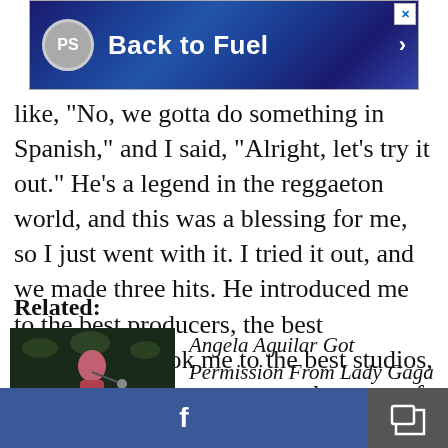[Figure (screenshot): Advertisement banner: PS logo, text 'Back to Fuel' with arrow, blue plaid background]
like, "No, we gotta do something in Spanish," and I said, "Alright, let's try it out." He's a legend in the reggaeton world, and this was a blessing for me, so I just went with it. I tried it out, and we made three hits. He introduced me to the best producers, the best songwriters, took me to the best studios, and I have a great team now because of him.
Related:
[Figure (photo): Photo of Angela Aguilar performing on stage, holding microphone, wearing a red outfit, dark background]
Angela Aguilar Got Permission From Lady Gaga to Cover
Facebook share button and share icon